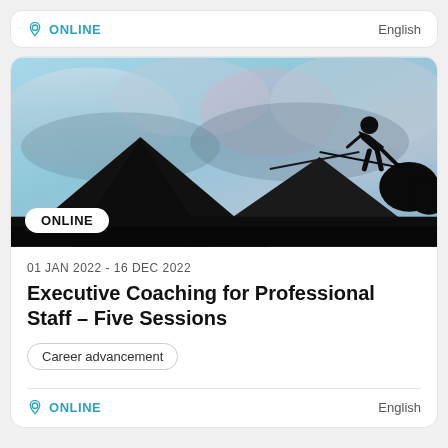ONLINE
English
[Figure (photo): Silhouette of a person on a rooftop working with tools against a dramatic blue cloudy sky, with dark roof structures in the foreground. An ONLINE badge label is overlaid at the bottom left.]
01 JAN 2022 - 16 DEC 2022
Executive Coaching for Professional Staff – Five Sessions
Career advancement
ONLINE
English